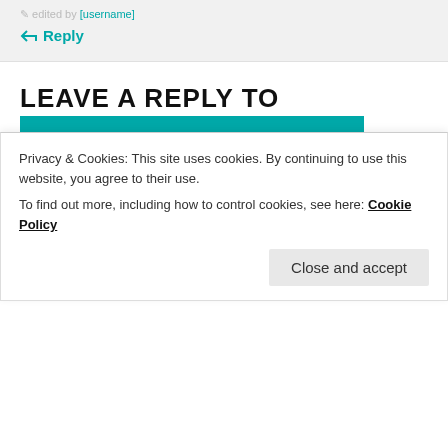edited by [username]
↳ Reply
LEAVE A REPLY TO
NOSTALGIA SEEKERS
CANCEL REPLY
Your email address will not be published. Required fields are marked *
Comment *
Privacy & Cookies: This site uses cookies. By continuing to use this website, you agree to their use.
To find out more, including how to control cookies, see here: Cookie Policy
Close and accept